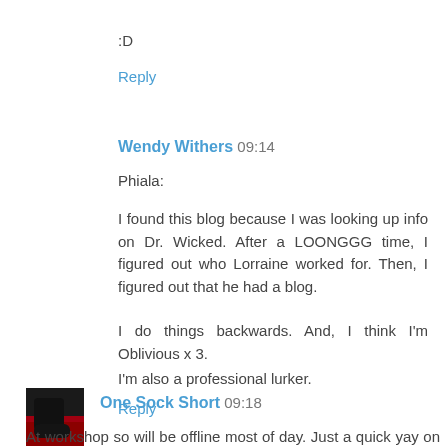:D
Reply
Wendy Withers  09:14
Phiala:
I found this blog because I was looking up info on Dr. Wicked. After a LOONGGG time, I figured out who Lorraine worked for. Then, I figured out that he had a blog.
I do things backwards. And, I think I'm Oblivious x 3.
I'm also a professional lurker.
Reply
One Sock Short  09:18
At workshop so will be offline most of day. Just a quick yay on Helen's progress.
[Figure (photo): Small avatar thumbnail showing a dark sock or fabric on a red background]